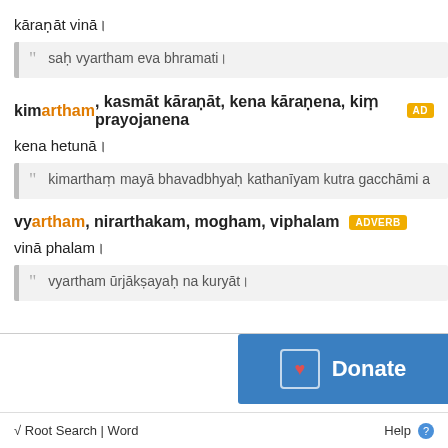kāraṇāt vinā।
saḥ vyartham eva bhramati।
kimartham, kasmāt kāraṇāt, kena kāraṇena, kiṃ prayojanena ADVERB
kena hetunā।
kimarthaṃ mayā bhavadbhyaḥ kathanīyam kutra gacchāmi a
vyartham, nirarthakam, mogham, viphalam ADVERB
vinā phalam।
vyartham ūrjākṣayaḥ na kuryāt।
√ Root Search | Word   Help